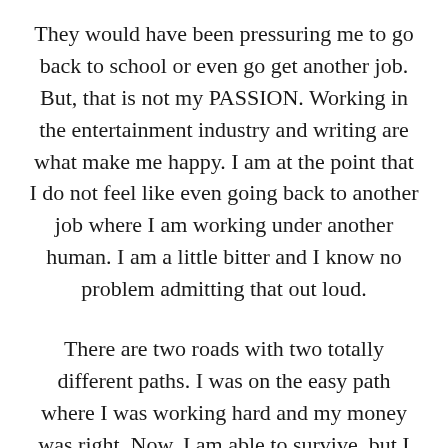They would have been pressuring me to go back to school or even go get another job. But, that is not my PASSION. Working in the entertainment industry and writing are what make me happy. I am at the point that I do not feel like even going back to another job where I am working under another human. I am a little bitter and I know no problem admitting that out loud.

There are two roads with two totally different paths. I was on the easy path where I was working hard and my money was right. Now, I am able to survive, but I cannot go buy